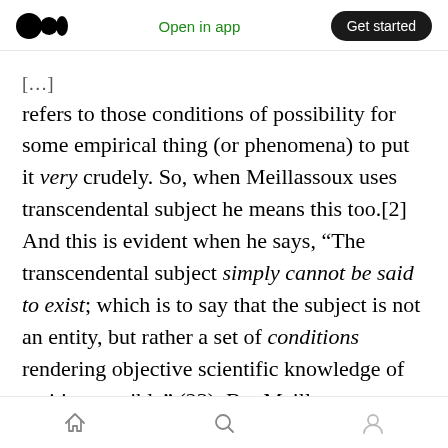Medium app header — Open in app | Get started
[...] refers to those conditions of possibility for some empirical thing (or phenomena) to put it very crudely. So, when Meillassoux uses transcendental subject he means this too.[2] And this is evident when he says, “The transcendental subject simply cannot be said to exist; which is to say that the subject is not an entity, but rather a set of conditions rendering objective scientific knowledge of entities possible” (23). But Meillassoux clarifies its existential status,
We are told that the transcendental does not
Home | Search | Profile